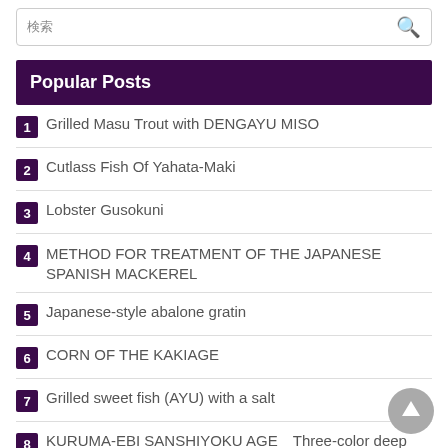検索
Popular Posts
1 Grilled Masu Trout with DENGAYU MISO
2 Cutlass Fish Of Yahata-Maki
3 Lobster Gusokuni
4 METHOD FOR TREATMENT OF THE JAPANESE SPANISH MACKEREL
5 Japanese-style abalone gratin
6 CORN OF THE KAKIAGE
7 Grilled sweet fish (AYU) with a salt
8 KURUMA-EBI SANSHIYOKU AGE　Three-color deep